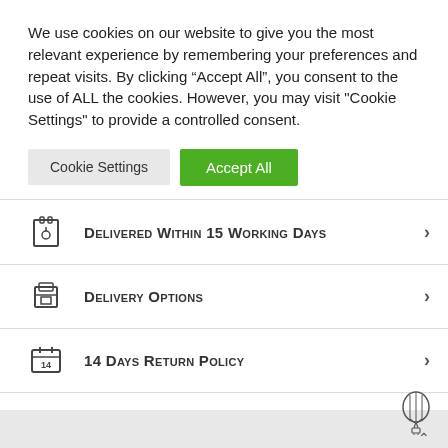We use cookies on our website to give you the most relevant experience by remembering your preferences and repeat visits. By clicking “Accept All”, you consent to the use of ALL the cookies. However, you may visit "Cookie Settings" to provide a controlled consent.
Cookie Settings | Accept All
Delivered Within 15 Working Days
Delivery Options
14 Days Return Policy